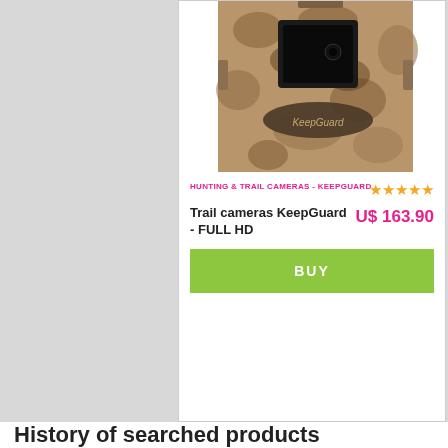[Figure (photo): Trail camera product photo - KeepGuard brand hunting camera in camouflage pattern]
HUNTING & TRAIL CAMERAS - KEEPGUARD
[Figure (other): 5 gold star rating]
Trail cameras KeepGuard - FULL HD
US$ 163.90
BUY
History of searched products
[Figure (photo): Small product thumbnail image at bottom]